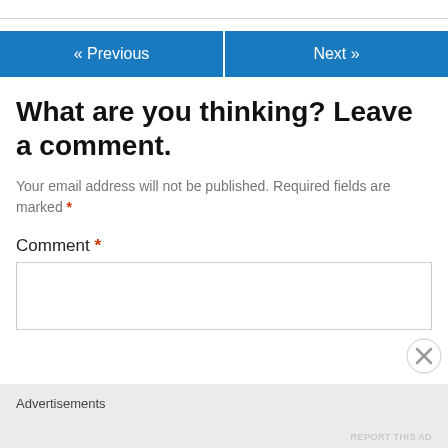« Previous   Next »
What are you thinking? Leave a comment.
Your email address will not be published. Required fields are marked *
Comment *
Advertisements